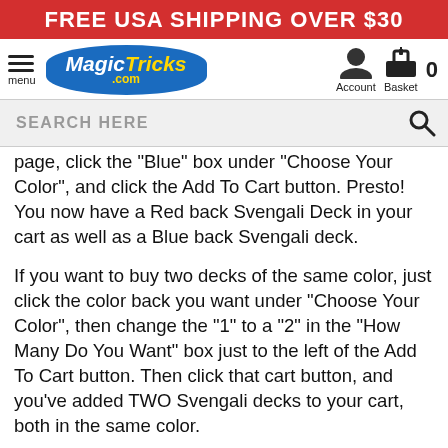FREE USA SHIPPING OVER $30
[Figure (logo): MagicTricks.com logo on blue oval with hamburger menu and Account/Basket icons]
SEARCH HERE
page, click the "Blue" box under "Choose Your Color", and click the Add To Cart button. Presto! You now have a Red back Svengali Deck in your cart as well as a Blue back Svengali deck.
If you want to buy two decks of the same color, just click the color back you want under "Choose Your Color", then change the "1" to a "2" in the "How Many Do You Want" box just to the left of the Add To Cart button. Then click that cart button, and you've added TWO Svengali decks to your cart, both in the same color.
Though you cannot request a specific force card, you can tell us that you want two different force